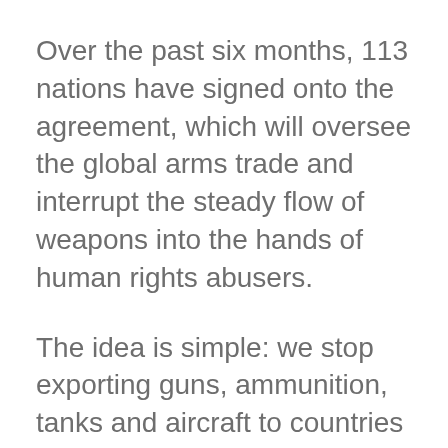Over the past six months, 113 nations have signed onto the agreement, which will oversee the global arms trade and interrupt the steady flow of weapons into the hands of human rights abusers.
The idea is simple: we stop exporting guns, ammunition, tanks and aircraft to countries that intend to use them against children or civilians, creating new humanitarian thresholds, and in the process we make it more difficult for those regimes to commit mass